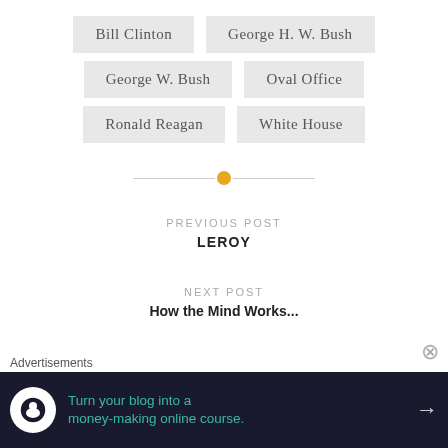Bill Clinton
George H. W. Bush
George W. Bush
Oval Office
Ronald Reagan
White House
PREVIOUS POST
LEROY
NEXT POST
How the Mind Works...
Advertisements
Turn your blog into a money-making online course.